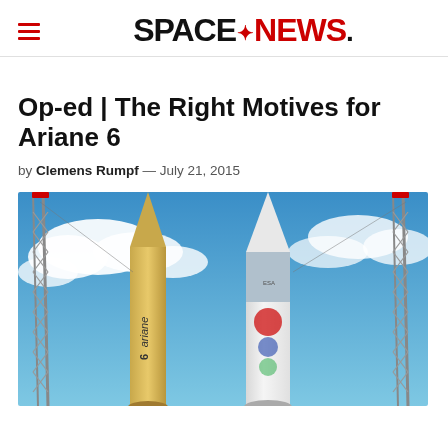SPACENEWS
Op-ed | The Right Motives for Ariane 6
by Clemens Rumpf — July 21, 2015
[Figure (photo): Photograph showing two Ariane 6 rocket concepts on a launch pad against a blue sky with clouds. One rocket is tan/gold colored with 'ariane 6' text, the other is white with mission logos. Metal launch tower structures are visible on both sides.]